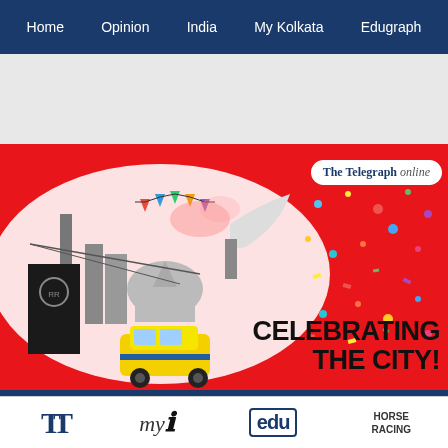Home | Opinion | India | My Kolkata | Edugraph
[Figure (photo): Grey advertisement placeholder area]
[Figure (illustration): The Telegraph Online banner: red background with white oval containing black and white illustration of Kolkata landmarks, yellow taxi, and colorful bunting. Text reads 'CELEBRATING THE CITY!' on the right. The Telegraph online logo pill in top right.]
TT | my kolkata | edu | HORSE RACING